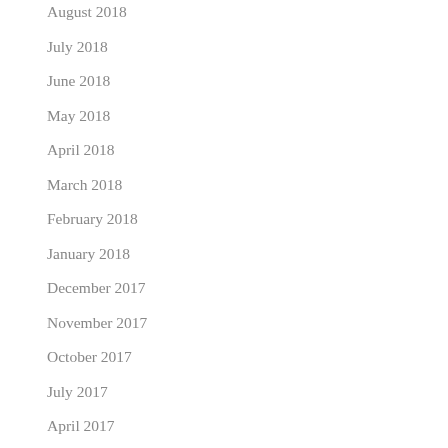August 2018
July 2018
June 2018
May 2018
April 2018
March 2018
February 2018
January 2018
December 2017
November 2017
October 2017
July 2017
April 2017